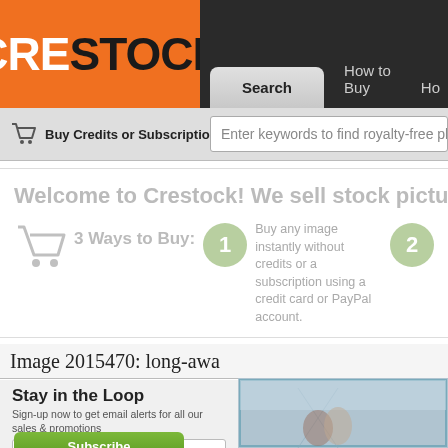[Figure (screenshot): Crestock stock photo website screenshot showing logo, navigation tabs, search bar, welcome banner with 3 ways to buy, image detail page title, newsletter signup, and wedding photo]
CRESTOCK
Search | How to Buy
Buy Credits or Subscription
Enter keywords to find royalty-free phot
Welcome to Crestock! We sell stock pictures from just $
3 Ways to Buy:
1 Buy any image instantly without credits or a subscription using a credit card or PayPal account.
2
Image 2015470: long-awa
Stay in the Loop
Sign-up now to get email alerts for all our sales & promotions
Enter your email
Subscribe